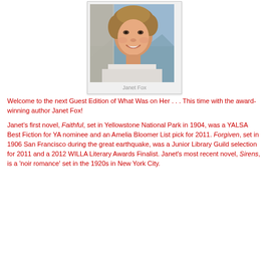[Figure (photo): Portrait photo of Janet Fox in a polaroid-style frame with a light gray background and her name printed below]
Janet Fox
Welcome to the next Guest Edition of What Was on Her . . . This time with the award-winning author Janet Fox!
Janet's first novel, Faithful, set in Yellowstone National Park in 1904, was a YALSA Best Fiction for YA nominee and an Amelia Bloomer List pick for 2011. Forgiven, set in 1906 San Francisco during the great earthquake, was a Junior Library Guild selection for 2011 and a 2012 WILLA Literary Awards Finalist. Janet's most recent novel, Sirens, is a 'noir romance' set in the 1920s in New York City.